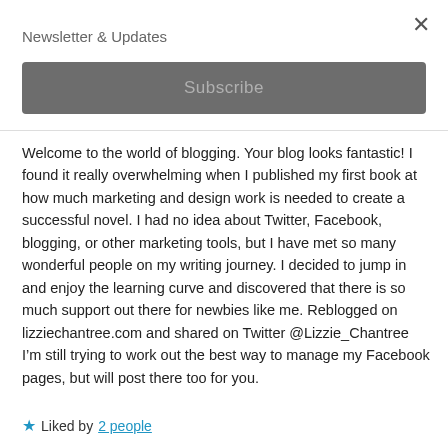Newsletter & Updates
[Figure (other): Subscribe button - dark gray rounded rectangle with 'Subscribe' text in lighter gray]
Welcome to the world of blogging. Your blog looks fantastic! I found it really overwhelming when I published my first book at how much marketing and design work is needed to create a successful novel. I had no idea about Twitter, Facebook, blogging, or other marketing tools, but I have met so many wonderful people on my writing journey. I decided to jump in and enjoy the learning curve and discovered that there is so much support out there for newbies like me. Reblogged on lizziechantree.com and shared on Twitter @Lizzie_Chantree I’m still trying to work out the best way to manage my Facebook pages, but will post there too for you.
★ Liked by 2 people